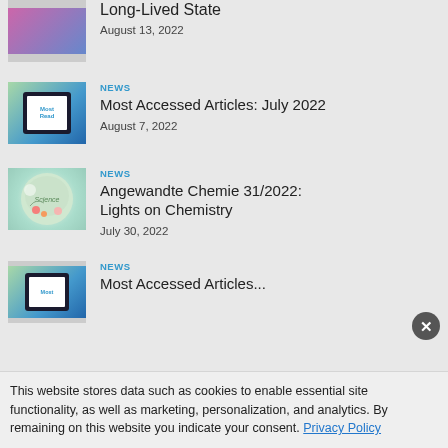[Figure (illustration): Partial thumbnail of an article image (top cropped)]
Long-Lived State
August 13, 2022
NEWS
[Figure (photo): Tablet showing Most Read label]
Most Accessed Articles: July 2022
August 7, 2022
NEWS
[Figure (illustration): Globe with flowers and chemistry imagery - Lights on Chemistry]
Angewandte Chemie 31/2022: Lights on Chemistry
July 30, 2022
NEWS
[Figure (photo): Partial thumbnail of Most Read tablet image]
This website stores data such as cookies to enable essential site functionality, as well as marketing, personalization, and analytics. By remaining on this website you indicate your consent. Privacy Policy